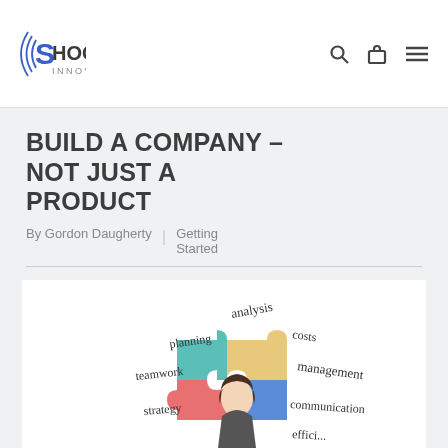SHOCKWAVE INNOVATIONS
BUILD A COMPANY – NOT JUST A PRODUCT
By Gordon Daugherty | Getting Started
[Figure (photo): Business concept image showing colorful puzzle pieces with a woman, surrounded by handwritten words: analysis, planning, costs, teamwork, management, strategy, communication, efficient]